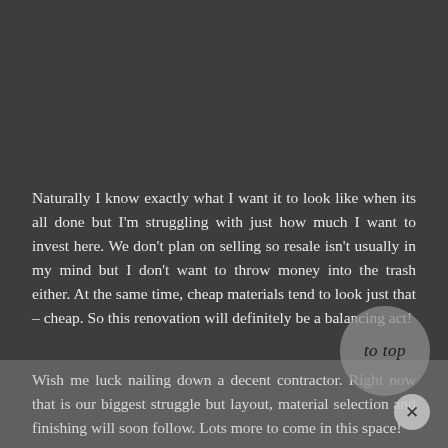Naturally I know exactly what I want it to look like when its all done but I'm struggling with just how much I want to invest here. We don't plan on selling so resale isn't usually in my mind but I don't want to throw money into the trash either. At the same time, cheap materials tend to look just that – cheap. So this renovation will definitely be a balancing act!
Wish me luck nailing down a decent contractor. Right now that is our biggest struggle but layout, material selection and finishing will soon follow. Lots more to come in this space!
And while I'm at the drawing board, I'd love to hear your suggestions on what I should consider in terms of materials and design. You all have some great ideas from what I've found!